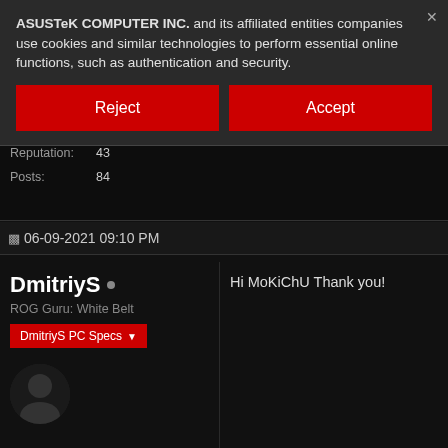ASUSTeK COMPUTER INC. and its affiliated entities companies use cookies and similar technologies to perform essential online functions, such as authentication and security.
[Figure (screenshot): Reject button (red background, white text)]
[Figure (screenshot): Accept button (red background, white text)]
[Figure (photo): Dark background with partial feather/wing graphic]
Join Date: Mar 2019
Reputation: 43
Posts: 84
06-09-2021 09:10 PM
DmitriyS
ROG Guru: White Belt
DmitriyS PC Specs
Hi MoKiChU Thank you!